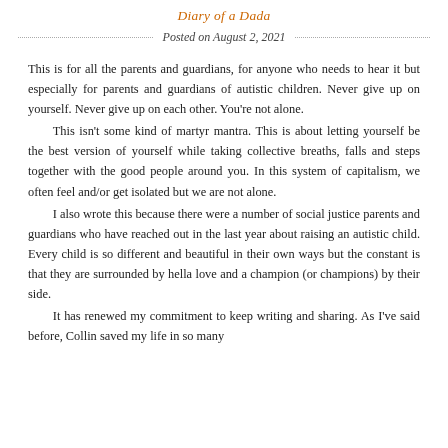Diary of a Dada
Posted on August 2, 2021
This is for all the parents and guardians, for anyone who needs to hear it but especially for parents and guardians of autistic children. Never give up on yourself. Never give up on each other. You're not alone.
	This isn't some kind of martyr mantra. This is about letting yourself be the best version of yourself while taking collective breaths, falls and steps together with the good people around you. In this system of capitalism, we often feel and/or get isolated but we are not alone.
	I also wrote this because there were a number of social justice parents and guardians who have reached out in the last year about raising an autistic child. Every child is so different and beautiful in their own ways but the constant is that they are surrounded by hella love and a champion (or champions) by their side.
	It has renewed my commitment to keep writing and sharing. As I've said before, Collin saved my life in so many